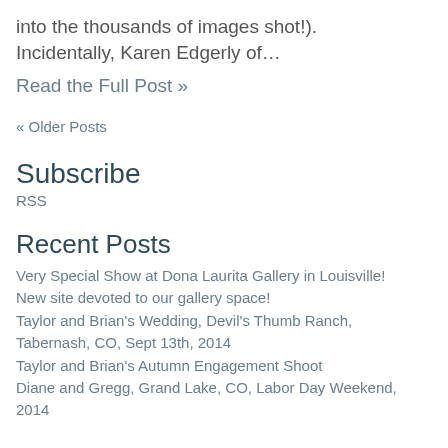into the thousands of images shot!). Incidentally, Karen Edgerly of…
Read the Full Post »
« Older Posts
Subscribe
RSS
Recent Posts
Very Special Show at Dona Laurita Gallery in Louisville!
New site devoted to our gallery space!
Taylor and Brian's Wedding, Devil's Thumb Ranch, Tabernash, CO, Sept 13th, 2014
Taylor and Brian's Autumn Engagement Shoot
Diane and Gregg, Grand Lake, CO, Labor Day Weekend, 2014